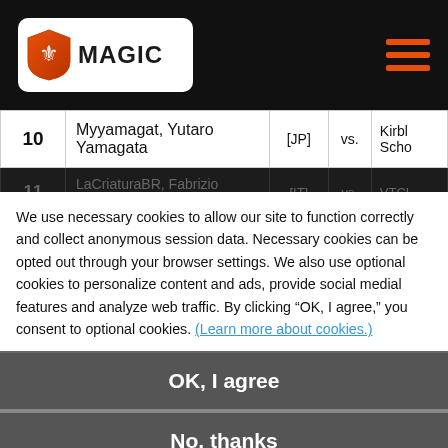[Figure (logo): Magic: The Gathering logo — white shield icon with planeswalker symbol on red background, 'MAGIC' text in black]
| # | Player | Country |  | Opponent |
| --- | --- | --- | --- | --- |
| 10 | Myyamagat, Yutaro Yamagata | [JP] | vs. | Kirbl... Scho... |
| 11 | LaCriaturaBR, Fabrizio Anteri | [IT] | vs. | VTCL... |
| 12 | ... | [WA] | vs. | Wye... Coca... |
We use necessary cookies to allow our site to function correctly and collect anonymous session data. Necessary cookies can be opted out through your browser settings. We also use optional cookies to personalize content and ads, provide social medial features and analyze web traffic. By clicking “OK, I agree,” you consent to optional cookies. (Learn more about cookies.)
OK, I agree
No, thanks
FIND AN EVENT NEAR YOU